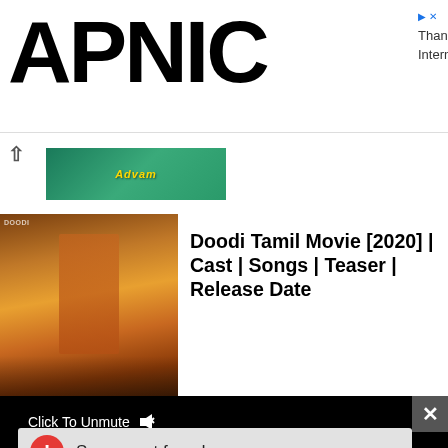APNIC
Thank you for helping us measure the Internet.
[Figure (photo): Thumbnail of a movie/show with teal/green background and stylized text in yellow]
[Figure (photo): Movie poster thumbnail with warm amber/brown tones showing a person in traditional dress]
Doodi Tamil Movie [2020] | Cast | Songs | Teaser | Release Date
[Figure (screenshot): Black video player area with 'Click To Unmute' text and a mute icon, and a 'Source not found' error message box with red error icon]
Click To Unmute
Source not found